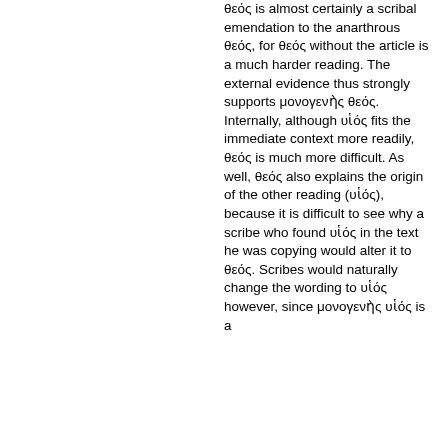θεός is almost certainly a scribal emendation to the anarthrous θεός, for θεός without the article is a much harder reading. The external evidence thus strongly supports μονογενὴς θεός. Internally, although υἱός fits the immediate context more readily, θεός is much more difficult. As well, θεός also explains the origin of the other reading (υἱός), because it is difficult to see why a scribe who found υἱός in the text he was copying would alter it to θεός. Scribes would naturally change the wording to υἱός however, since μονογενὴς υἱός is a